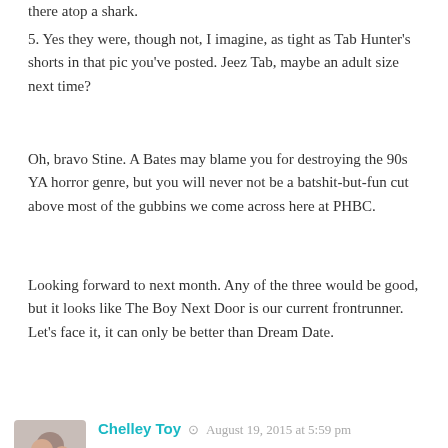there atop a shark.
5. Yes they were, though not, I imagine, as tight as Tab Hunter's shorts in that pic you've posted. Jeez Tab, maybe an adult size next time?
Oh, bravo Stine. A Bates may blame you for destroying the 90s YA horror genre, but you will never not be a batshit-but-fun cut above most of the gubbins we come across here at PHBC.
Looking forward to next month. Any of the three would be good, but it looks like The Boy Next Door is our current frontrunner. Let's face it, it can only be better than Dream Date.
Chelley Toy  August 19, 2015 at 5:59 pm
Our next Point Horror read is The Boy Next Door by Sinclair Smith.....will update page when I'm back at my computer 🙂
Chelley Toy  August 23, 2015 at 8:06 pm
lol...I've actually just read the post back to myself and